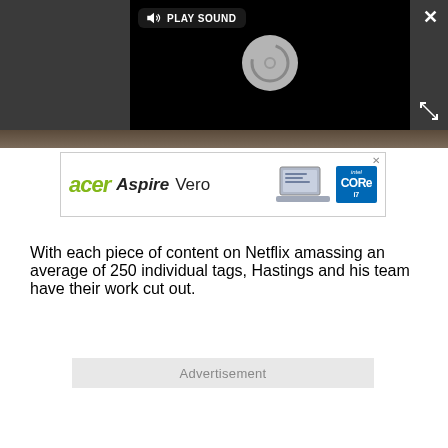[Figure (screenshot): Video player overlay with dark grey background, black video panel, 'PLAY SOUND' button with speaker icon, circular loading spinner, X close button top-right, expand icon bottom-right]
[Figure (screenshot): Acer Aspire Vero advertisement banner showing acer logo in green, Aspire Vero text, laptop image, and Intel Core i7 badge]
With each piece of content on Netflix amassing an average of 250 individual tags, Hastings and his team have their work cut out.
Advertisement
[Figure (screenshot): StarWind Hyperconvergence advertisement banner: 'Virtual Shared Storage Solution with Transparent Licensing', laptop image, StarWind logo, GET FREE TRIAL button]